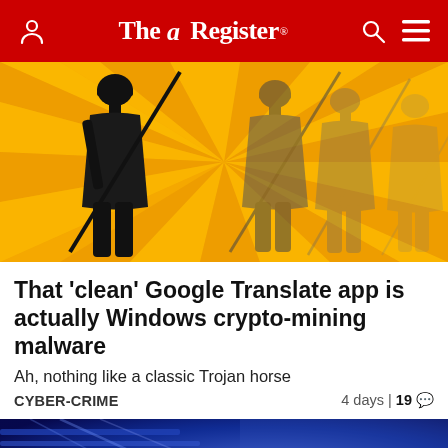The Register
[Figure (illustration): Dark silhouette of a soldier figure against a yellow radiant background, with multiple shadowed figures holding spears/weapons]
That 'clean' Google Translate app is actually Windows crypto-mining malware
Ah, nothing like a classic Trojan horse
CYBER-CRIME   4 days | 19 comment
[Figure (photo): Blue-toned data center or server room with glowing light streaks]